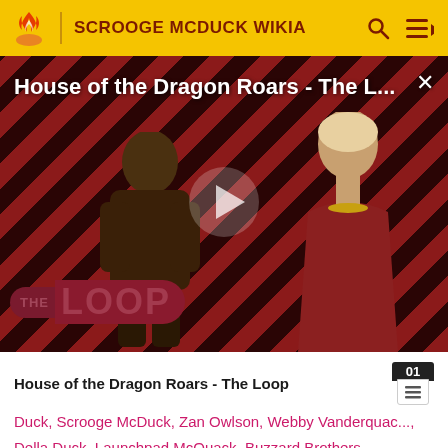SCROOGE MCDUCK WIKIA
[Figure (screenshot): Video thumbnail for 'House of the Dragon Roars - The L...' showing two characters against a diagonal red and black striped background with a play button overlay and The Loop watermark]
House of the Dragon Roars - The Loop
Duck, Scrooge McDuck, Zan Owlson, Webby Vanderquac..., Della Duck, Launchpad McQuack, Buzzard Brothers, Lieutenant Penumbra, Johnny and Randy Empire, and